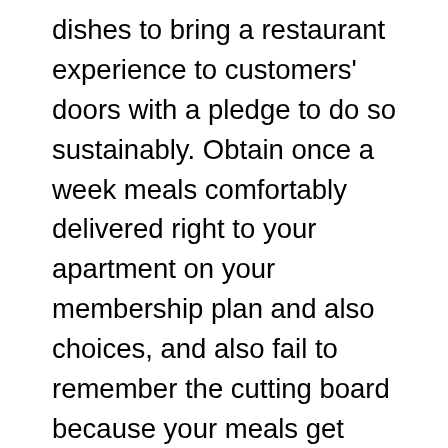dishes to bring a restaurant experience to customers' doors with a pledge to do so sustainably. Obtain once a week meals comfortably delivered right to your apartment on your membership plan and also choices, and also fail to remember the cutting board because your meals get here prepared to heat up when you are. This special experience is brought to you by CEO and co-founder Mateo Marietti, who began CookUnity in 2015 with head chef Lucia Cisilotto. The business has an ongoing partnership with and contribution to the Food Bank of New York City, to address as well as improve the food insecurity of households across the five districts.
CookUnity prides itself on its goal to deliver a